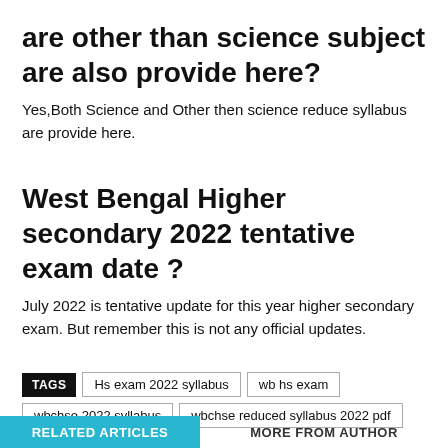are other than science subject are also provide here?
Yes,Both Science and Other then science reduce syllabus are provide here.
West Bengal Higher secondary 2022 tentative exam date ?
July 2022 is tentative update for this year higher secondary exam. But remember this is not any official updates.
TAGS  Hs exam 2022 syllabus  wb hs exam  wbchse 2022 syllabus  wbchse reduced syllabus 2022 pdf
RELATED ARTICLES  MORE FROM AUTHOR